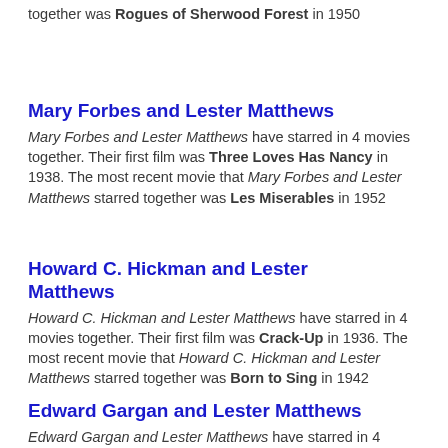together was Rogues of Sherwood Forest in 1950
Mary Forbes and Lester Matthews
Mary Forbes and Lester Matthews have starred in 4 movies together. Their first film was Three Loves Has Nancy in 1938. The most recent movie that Mary Forbes and Lester Matthews starred together was Les Miserables in 1952
Howard C. Hickman and Lester Matthews
Howard C. Hickman and Lester Matthews have starred in 4 movies together. Their first film was Crack-Up in 1936. The most recent movie that Howard C. Hickman and Lester Matthews starred together was Born to Sing in 1942
Edward Gargan and Lester Matthews
Edward Gargan and Lester Matthews have starred in 4 movies together. Their first film was Time Out...